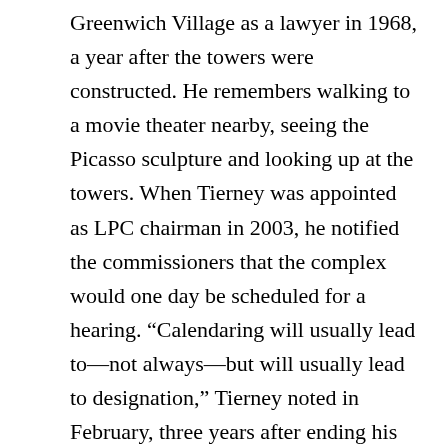Greenwich Village as a lawyer in 1968, a year after the towers were constructed. He remembers walking to a movie theater nearby, seeing the Picasso sculpture and looking up at the towers. When Tierney was appointed as LPC chairman in 2003, he notified the commissioners that the complex would one day be scheduled for a hearing. “Calendaring will usually lead to—not always—but will usually lead to designation,” Tierney noted in February, three years after ending his 11-year LPC tenure. “You don’t even get calendared unless you’re really on the merits.”
Owner approval is not needed for designation, but for Tierney, it was preferred. University